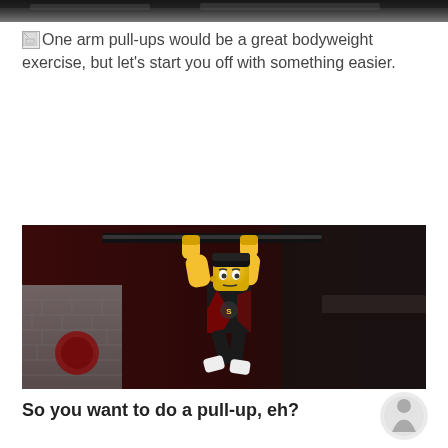[Figure (photo): Dark cropped image at top of page, appears to be the bottom edge of a previous photo]
One arm pull-ups would be a great bodyweight exercise, but let's start you off with something easier.
[Figure (photo): A LEGO minifigure doing a pull-up on a bar, photographed in a realistic gym-like setting with dark background and brick wall]
So you want to do a pull-up, eh?